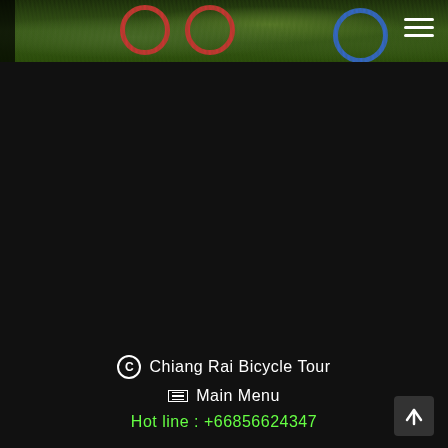[Figure (photo): Top strip showing bicycles on green grass background, partially visible]
© Chiang Rai Bicycle Tour
☰ Main Menu
Hot line : +66856624347